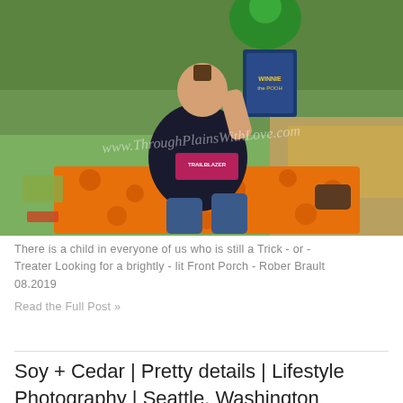[Figure (photo): Young toddler boy sitting on an orange Halloween blanket outdoors on grass, holding up a Winnie the Pooh book. Green cartoon character visible at top. Watermark text overlay visible across the middle of the image.]
There is a child in everyone of us who is still a Trick - or - Treater Looking for a brightly - lit Front Porch - Rober Brault 08.2019
Read the Full Post »
Soy + Cedar | Pretty details | Lifestyle Photography | Seattle, Washington